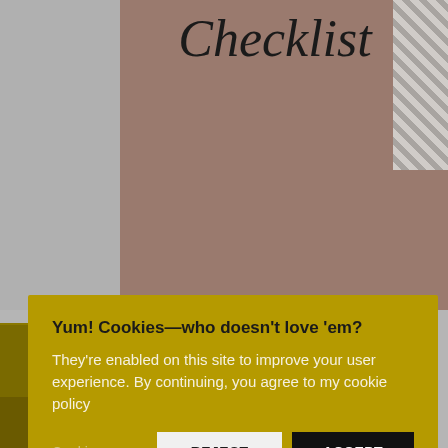[Figure (screenshot): Website screenshot showing a book cover with italic text 'Checklist' on a brownish background, with social share buttons on the left sidebar, and a cookie consent banner overlay in gold/yellow color]
Checklist
Yum! Cookies—who doesn't love 'em?
They're enabled on this site to improve your user experience. By continuing, you agree to my cookie policy
Cookie Settings
REJECT ALL
ACCEPT ALL